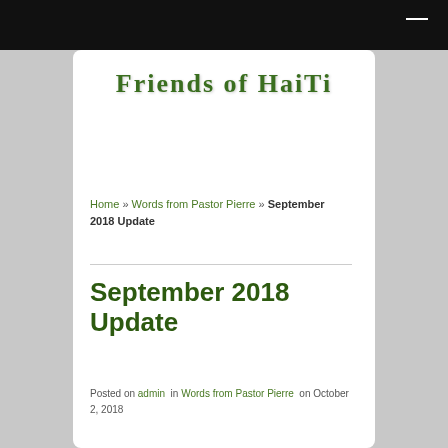Friends of HaiTi — site header with navigation menu icon
[Figure (logo): Friends of HaiTi logo text in dark green stylized serif font]
Home » Words from Pastor Pierre » September 2018 Update
September 2018 Update
Posted on admin  in Words from Pastor Pierre  on October 2, 2018